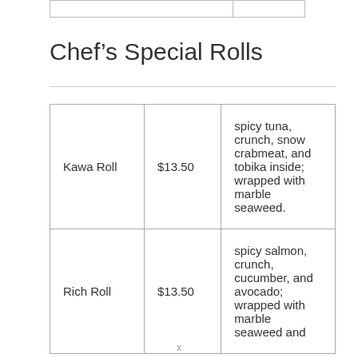Chef's Special Rolls
| Kawa Roll | $13.50 | spicy tuna, crunch, snow crabmeat, and tobika inside; wrapped with marble seaweed. |
| Rich Roll | $13.50 | spicy salmon, crunch, cucumber, and avocado; wrapped with marble seaweed and |